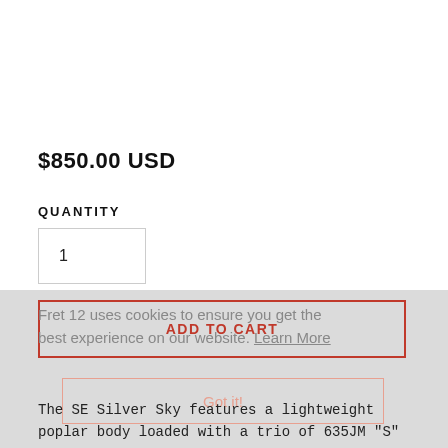$850.00 USD
QUANTITY
1
ADD TO CART
Fret 12 uses cookies to ensure you get the best experience on our website. Learn More
Got it!
The SE Silver Sky features a lightweight poplar body loaded with a trio of 635JM "S"